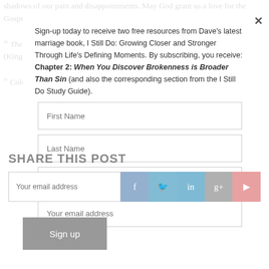shadows of our pain and disappointments. May God grant us a love for the Gospel so great that we can joyfully send our best people out to serve the lost.
[iii] The Trellis and the Vine, Marshall, Colin and Tony Payne, (Kingsford, Australia: Matthias Media, 2009), 83.
[iv] Colossians 4:9.
Sign-up today to receive two free resources from Dave's latest marriage book, I Still Do: Growing Closer and Stronger Through Life's Defining Moments. By subscribing, you receive: Chapter 2: When You Discover Brokenness is Broader Than Sin (and also the corresponding section from the I Still Do Study Guide).
SHARE THIS POST